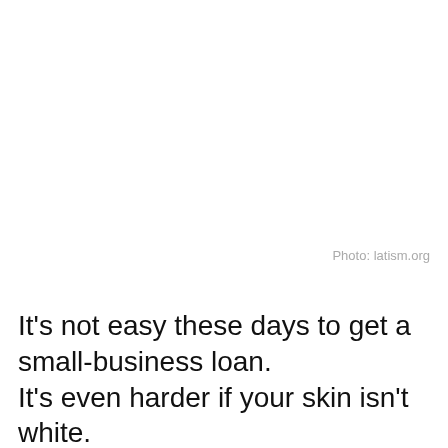Photo: latism.org
It's not easy these days to get a small-business loan.
It's even harder if your skin isn't white.
New academic research reveals that minority entrepreneurs are treated significantly differently (see: worse) than their white counterparts when seeking financing for a small business, even when